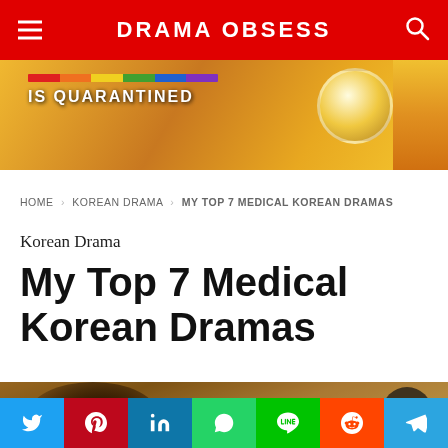DRAMA OBSESS
[Figure (photo): Promotional banner with rainbow stripe and golden character logo, text 'IS QUARANTINED']
HOME › KOREAN DRAMA › MY TOP 7 MEDICAL KOREAN DRAMAS
Korean Drama
My Top 7 Medical Korean Dramas
[Figure (photo): Person with dark hair from behind in a warm-toned scene, with a play button overlay in the top right]
Social share buttons: Twitter, Pinterest, LinkedIn, WhatsApp, Line, Reddit, Telegram